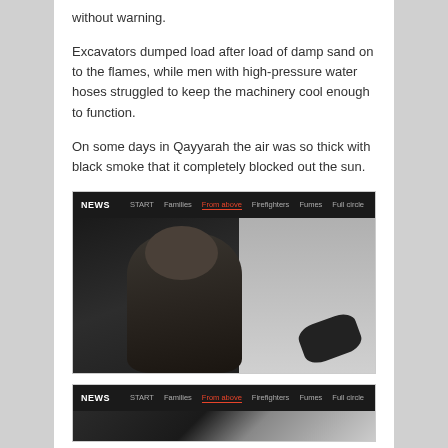without warning.
Excavators dumped load after load of damp sand on to the flames, while men with high-pressure water hoses struggled to keep the machinery cool enough to function.
On some days in Qayyarah the air was so thick with black smoke that it completely blocked out the sun.
[Figure (screenshot): Screenshot of a news website showing a firefighter in protective gear holding a hose, with navigation tabs: NEWS | START | Families | From above (active) | Firefighters | Fumes | Full circle]
[Figure (screenshot): Partial screenshot of the same news website, showing the navigation bar: NEWS | START | Families | From above | Firefighters | Fumes | Full circle]